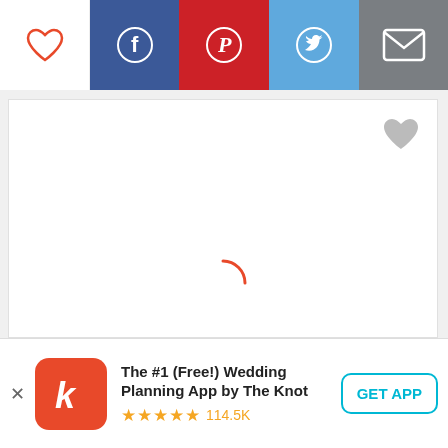[Figure (screenshot): Top toolbar with heart (favorite), Facebook, Pinterest, Twitter, and email share buttons]
[Figure (screenshot): Main content area: white card with gray heart favorite icon top-right and a red loading spinner in the center-bottom]
[Figure (screenshot): App download banner at bottom: The Knot app icon (red K), title 'The #1 (Free!) Wedding Planning App by The Knot', 5-star rating with 114.5K reviews, and GET APP button]